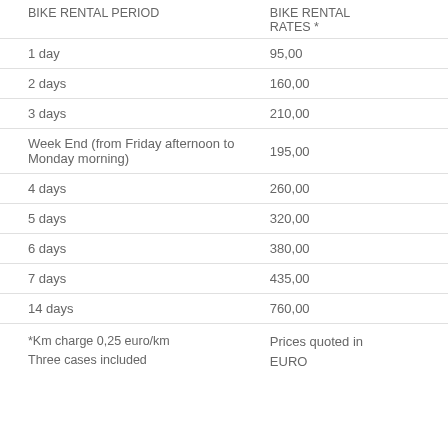| BIKE RENTAL PERIOD | BIKE RENTAL RATES * |
| --- | --- |
| 1 day | 95,00 |
| 2 days | 160,00 |
| 3 days | 210,00 |
| Week End (from Friday afternoon to Monday morning) | 195,00 |
| 4 days | 260,00 |
| 5 days | 320,00 |
| 6 days | 380,00 |
| 7 days | 435,00 |
| 14 days | 760,00 |
*Km charge 0,25 euro/km
Three cases included
Prices quoted in EURO